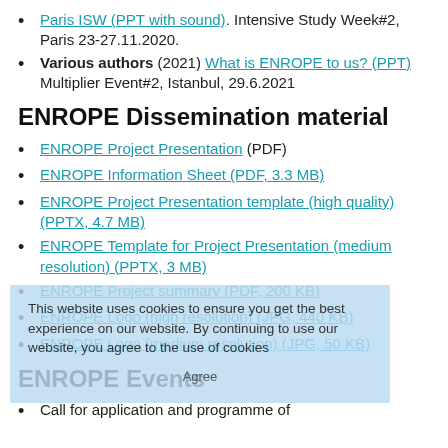Paris ISW (PPT with sound). Intensive Study Week#2, Paris 23-27.11.2020.
Various authors (2021) What is ENROPE to us? (PPT) Multiplier Event#2, Istanbul, 29.6.2021
ENROPE Dissemination material
ENROPE Project Presentation (PDF)
ENROPE Information Sheet (PDF, 3.3 MB)
ENROPE Project Presentation template (high quality) (PPTX, 4.7 MB)
ENROPE Template for Project Presentation (medium resolution) (PPTX, 3 MB)
ENROPE Project summary (PDF, 200 KB)
ENROPE Logo (high resolution) (JPG, 440 KB)
ENROPE Logo (medium resolution) (JPG, 50 KB)
ENROPE Events
Call for application and programme of